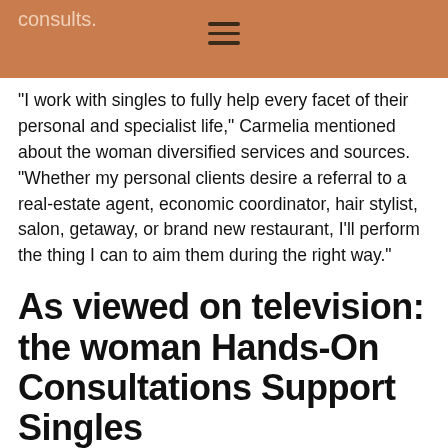consults.
“I work with singles to fully help every facet of their personal and specialist life,” Carmelia mentioned about the woman diversified services and sources. “Whether my personal clients desire a referral to a real-estate agent, economic coordinator, hair stylist, salon, getaway, or brand new restaurant, I’ll perform the thing I can to aim them during the right way.”
As viewed on television: the woman Hands-On Consultations Support Singles
Carmelia operates difficult build trust making use of the single both women and men who arrive at the lady for help.